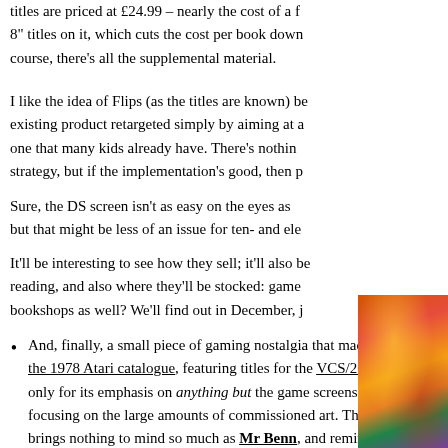titles are priced at £24.99 – nearly the cost of a f… 8" titles on it, which cuts the cost per book down… course, there's all the supplemental material.
I like the idea of Flips (as the titles are known) be… existing product retargeted simply by aiming at a… one that many kids already have. There's nothin… strategy, but if the implementation's good, then p…
Sure, the DS screen isn't as easy on the eyes as… but that might be less of an issue for ten- and ele…
It'll be interesting to see how they sell; it'll also be… reading, and also where they'll be stocked: game… bookshops as well? We'll find out in December, j…
And, finally, a small piece of gaming nostalgia that made me smile: the 1978 Atari catalogue, featuring titles for the VCS/2600. I like it if only for its emphasis on anything but the game screens, instead focusing on the large amounts of commissioned art. That cover brings nothing to mind so much as Mr Benn, and reminds me of the escpaism – the different …
[Figure (illustration): Colorful illustrated cover art, partial view, showing vibrant commissioned artwork with warm oranges, reds and greens, reminiscent of fantasy/adventure illustration.]